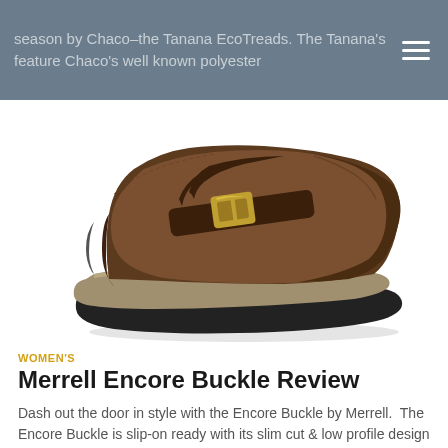season by Chaco–the Tanana EcoTreads. The Tanana's feature Chaco's well known polyester
[Figure (photo): A brown suede/nubuck Merrell Encore Buckle women's clog shoe with a metal buckle strap across the top, shown in profile on a white background. The shoe has a dark brown upper, a contoured grey and tan midsole, and a black rubber outsole.]
WOMEN'S
Merrell Encore Buckle Review
Dash out the door in style with the Encore Buckle by Merrell.  The Encore Buckle is slip-on ready with its slim cut & low profile design your feet will both look & feel